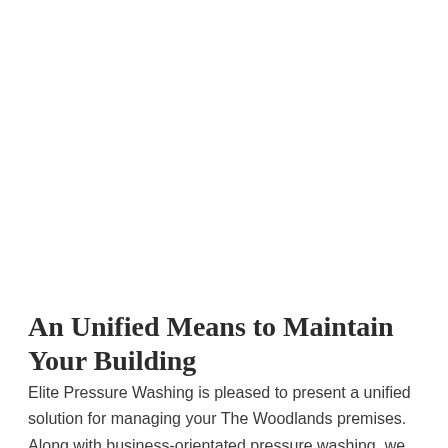An Unified Means to Maintain Your Building
Elite Pressure Washing is pleased to present a unified solution for managing your The Woodlands premises. Along with business-orientated pressure washing, we also offer exterior painting, multi-